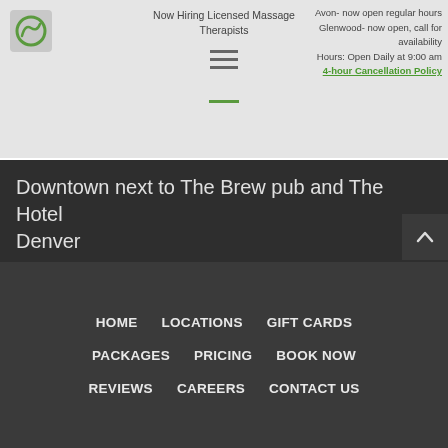Now Hiring Licensed Massage Therapists | Avon- now open regular hours Glenwood- now open, call for availability | Hours: Open Daily at 9:00 am | 4-hour Cancellation Policy
Downtown next to The Brew pub and The Hotel Denver
420 7th Street
Glenwood Springs, CO 81601
970-306-0098
Directions/Map
HOME
LOCATIONS
GIFT CARDS
PACKAGES
PRICING
BOOK NOW
REVIEWS
CAREERS
CONTACT US